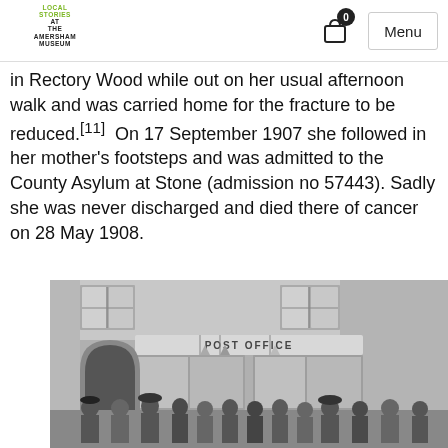LOCAL STORIES AT THE AMERSHAM MUSEUM | Menu
in Rectory Wood while out on her usual afternoon walk and was carried home for the fracture to be reduced.[11]  On 17 September 1907 she followed in her mother's footsteps and was admitted to the County Asylum at Stone (admission no 57443). Sadly she was never discharged and died there of cancer on 28 May 1908.
[Figure (photo): Black and white historical photograph of people gathered outside a Post Office building, with windows, flags, and an arched doorway visible.]